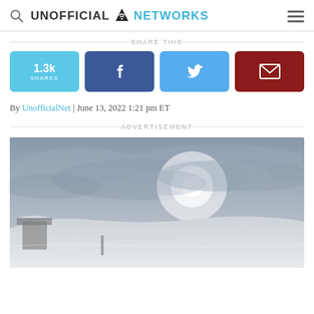Unofficial Networks
SHARE THIS
1.3k SHARES | Facebook | Twitter | Email
By UnofficialNet | June 13, 2022 1:21 pm ET
ADVERTISEMENT
[Figure (photo): Snowy mountain landscape with overcast sky and bright sun partially visible through clouds, snow-covered terrain and structures in foreground]